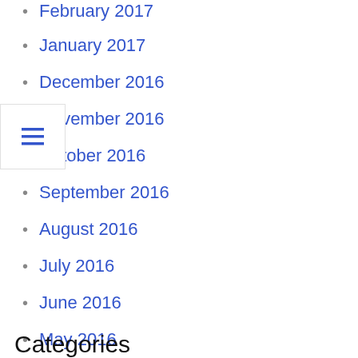February 2017
January 2017
December 2016
November 2016
October 2016
September 2016
August 2016
July 2016
June 2016
May 2016
April 2016
March 2016
February 2016
January 2016
December 2015
November 2015
Categories